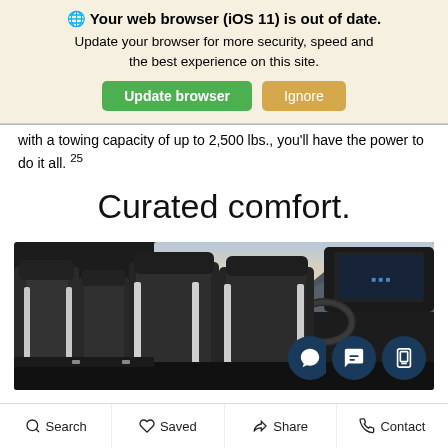🌐 Your web browser (iOS 11) is out of date. Update your browser for more security, speed and the best experience on this site.
Update browser | Ignore
with a towing capacity of up to 2,500 lbs., you'll have the power to do it all. 25
Curated comfort.
[Figure (photo): Car interior showing rear and front seats with dark upholstery, white accent stitching, and dashboard with digital display visible in background through the windshield showing mountains.]
Search  Saved  Share  Contact